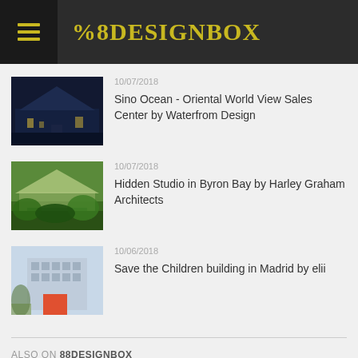88DESIGNBOX
10/07/2018
Sino Ocean - Oriental World View Sales Center by Waterfrom Design
10/07/2018
Hidden Studio in Byron Bay by Harley Graham Architects
10/06/2018
Save the Children building in Madrid by elii
ALSO ON 88DESIGNBOX